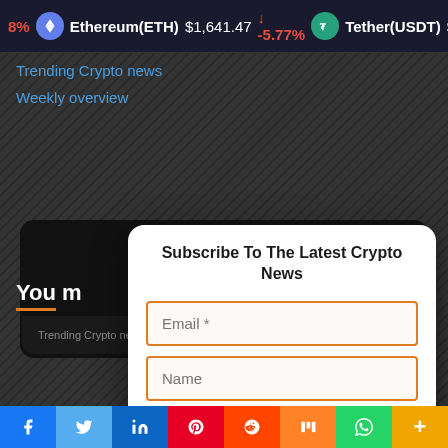8% Ethereum(ETH) $1,641.47 ↓ -5.77% Tether(USDT) $1.0
Trending Crypto news
Weekly overview
You m
[Figure (screenshot): Newsletter subscription modal dialog with orange-bordered Email and Name input fields and an orange Subscribe button, overlaid on a dark website background showing a crypto news site]
Social share buttons: Facebook, Twitter, LinkedIn, Pinterest, Reddit, Mix, WhatsApp, More